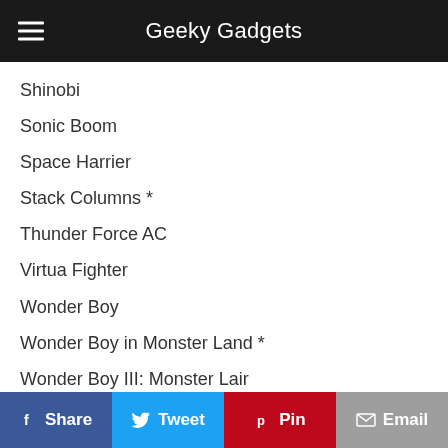Geeky Gadgets
Shinobi
Sonic Boom
Space Harrier
Stack Columns *
Thunder Force AC
Virtua Fighter
Wonder Boy
Wonder Boy in Monster Land *
Wonder Boy III: Monster Lair
* Denotes a game that has menus and text in Japanese
** Denotes a game that has portions of untranslated text, but menus are entirely English.
Source : Limited Run Games : Liliputing
Share  Tweet  Pin  Email